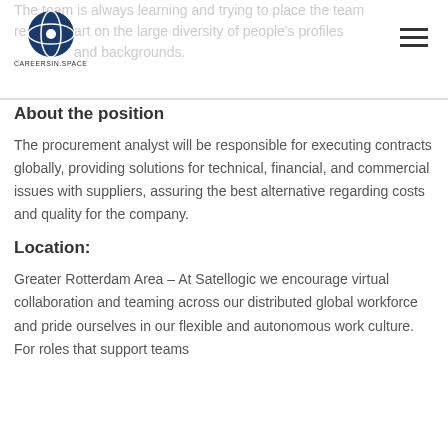CAREERSIN.SPACE
The team is always learning and trying to place the team relies in part on the large diversity of people's profiles and backgrounds.
About the position
The procurement analyst will be responsible for executing contracts globally, providing solutions for technical, financial, and commercial issues with suppliers, assuring the best alternative regarding costs and quality for the company.
Location:
Greater Rotterdam Area – At Satellogic we encourage virtual collaboration and teaming across our distributed global workforce and pride ourselves in our flexible and autonomous work culture. For roles that support teams